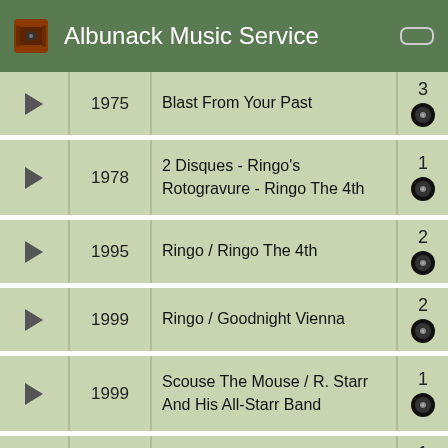Albunack Music Service
1975 | Blast From Your Past | 3
1978 | 2 Disques - Ringo's Rotogravure - Ringo The 4th | 1
1995 | Ringo / Ringo The 4th | 2
1999 | Ringo / Goodnight Vienna | 2
1999 | Scouse The Mouse / R. Starr And His All-Starr Band | 1
Ognir Rrats Greatest Hits | 1
Album Soundtrack
Possible